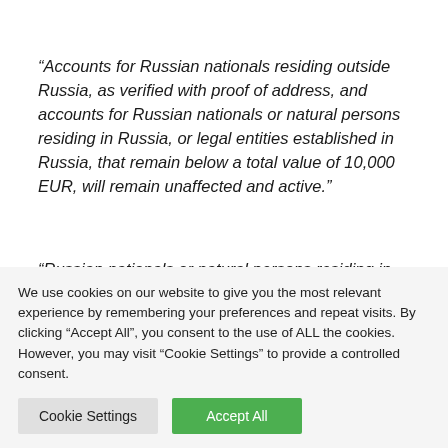“Accounts for Russian nationals residing outside Russia, as verified with proof of address, and accounts for Russian nationals or natural persons residing in Russia, or legal entities established in Russia, that remain below a total value of 10,000 EUR, will remain unaffected and active.”
“Russian nationals or natural persons residing in Russia, or legal entities established in Russia, with open Futures/Derivatives positions, and who have crypto account
We use cookies on our website to give you the most relevant experience by remembering your preferences and repeat visits. By clicking “Accept All”, you consent to the use of ALL the cookies. However, you may visit “Cookie Settings” to provide a controlled consent.